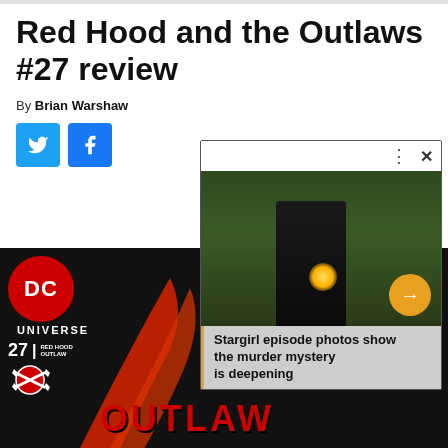Red Hood and the Outlaws #27 review
By Brian Warshaw
[Figure (screenshot): Video popup overlay showing a man in a dark jacket in an outdoor setting with a light burst effect. Caption reads: 'Stargirl episode photos show the murder mystery is deepening'. Has toolbar with dots menu and X close button, and a yellow arrow button.]
[Figure (photo): DC Universe comic book cover for Red Hood and the Outlaws #27 showing DC Universe logo, issue number 27, crossed axes emblem, red curved shapes, and OUTLAW text in red at the bottom on a dark background.]